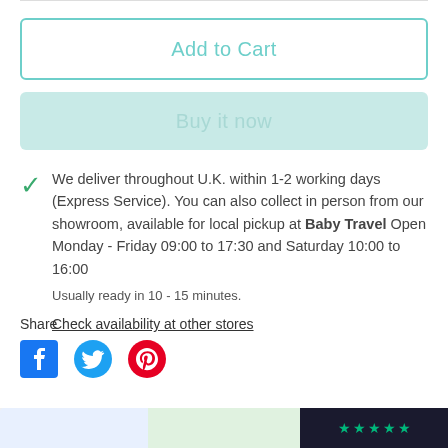Add to Cart
Buy it now
We deliver throughout U.K. within 1-2 working days (Express Service). You can also collect in person from our showroom, available for local pickup at Baby Travel Open Monday - Friday 09:00 to 17:30 and Saturday 10:00 to 16:00
Usually ready in 10 - 15 minutes.
Check availability at other stores
Share
[Figure (other): Social media share icons: Facebook, Twitter, Pinterest]